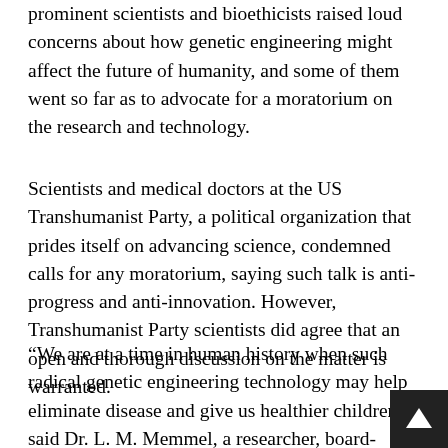prominent scientists and bioethicists raised loud concerns about how genetic engineering might affect the future of humanity, and some of them went so far as to advocate for a moratorium on the research and technology.
Scientists and medical doctors at the US Transhumanist Party, a political organization that prides itself on advancing science, condemned calls for any moratorium, saying such talk is anti-progress and anti-innovation. However, Transhumanist Party scientists did agree that an open and thorough discussion on the matter is warranted.
“We are at a time in human history when such radical genetic engineering technology may help eliminate disease and give us healthier children,” said Dr. L. M. Memmel, a researcher, board-certified Obstetrician & Gynecologist, and Treasurer of the Transhumanist